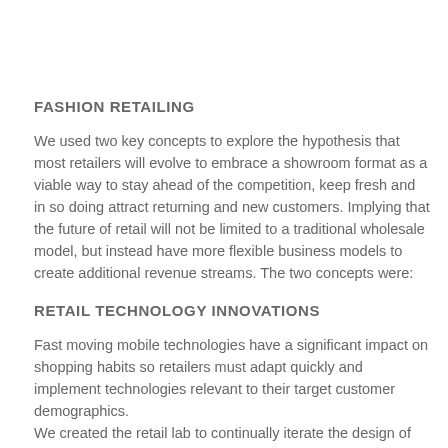FASHION RETAILING
We used two key concepts to explore the hypothesis that most retailers will evolve to embrace a showroom format as a viable way to stay ahead of the competition, keep fresh and in so doing attract returning and new customers. Implying that the future of retail will not be limited to a traditional wholesale model, but instead have more flexible business models to create additional revenue streams. The two concepts were:
RETAIL TECHNOLOGY INNOVATIONS
Fast moving mobile technologies have a significant impact on shopping habits so retailers must adapt quickly and implement technologies relevant to their target customer demographics.
We created the retail lab to continually iterate the design of the customer journey and help nurture better